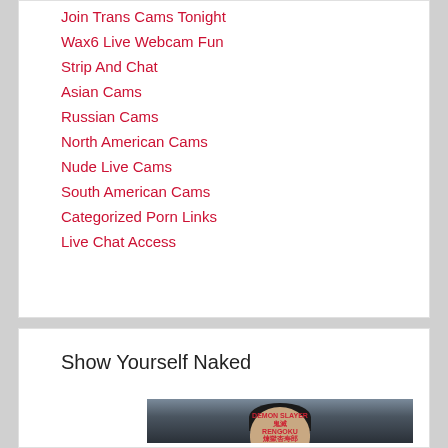Join Trans Cams Tonight
Wax6 Live Webcam Fun
Strip And Chat
Asian Cams
Russian Cams
North American Cams
Nude Live Cams
South American Cams
Categorized Porn Links
Live Chat Access
Show Yourself Naked
[Figure (photo): Person wearing a black graphic t-shirt with red/white anime-style print, with a green 'Live' badge overlay in the top left corner of the image.]